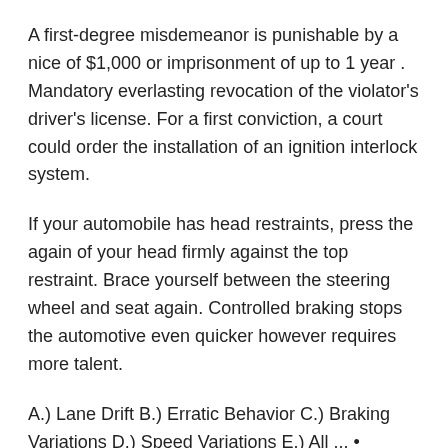A first-degree misdemeanor is punishable by a nice of $1,000 or imprisonment of up to 1 year . Mandatory everlasting revocation of the violator's driver's license. For a first conviction, a court could order the installation of an ignition interlock system.
If your automobile has head restraints, press the again of your head firmly against the top restraint. Brace yourself between the steering wheel and seat again. Controlled braking stops the automotive even quicker however requires more talent.
A.) Lane Drift B.) Erratic Behavior C.) Braking Variations D.) Speed Variations E.) All ... • Excessive display of acceleration, (burnouts.) • Not stopping for